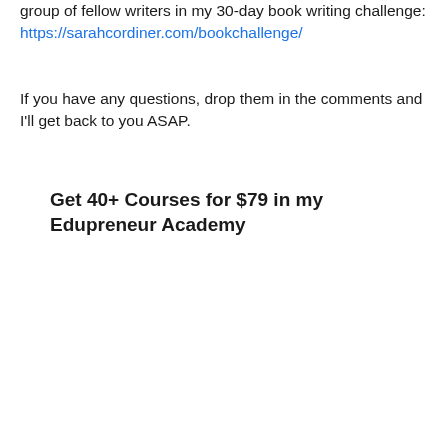group of fellow writers in my 30-day book writing challenge: https://sarahcordiner.com/bookchallenge/
If you have any questions, drop them in the comments and I'll get back to you ASAP.
Get 40+ Courses for $79 in my Edupreneur Academy